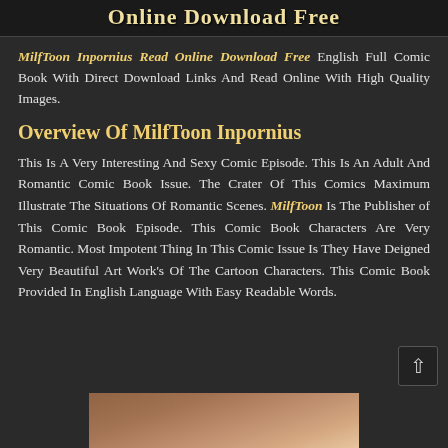Online Download Free
MilfToon Inpornius Read Online Download Free English Full Comic Book With Direct Download Links And Read Online With High Quality Images.
Overview Of MilfToon Inpornius
This Is A Very Interesting And Sexy Comic Episode. This Is An Adult And Romantic Comic Book Issue. The Crater Of This Comics Maximum Illustrate The Situations Of Romantic Scenes. MilfToon Is The Publisher of This Comic Book Episode. This Comic Book Characters Are Very Romantic. Most Impotent Thing In This Comic Issue Is They Have Deigned Very Beautiful Art Work's Of The Cartoon Characters. This Comic Book Provided In English Language With Easy Readable Words.
[Figure (photo): Bottom portion of a photo, likely showing a cartoon or comic character, partially visible at the bottom of the page.]